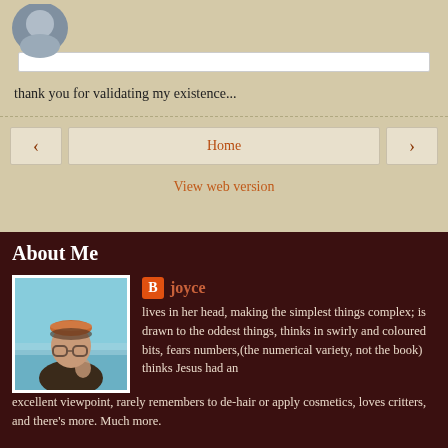[Figure (photo): Partial profile avatar circle at top]
thank you for validating my existence...
‹  Home  ›
View web version
About Me
[Figure (photo): Photo of joyce at beach wearing headband and glasses]
joyce
lives in her head, making the simplest things complex; is drawn to the oddest things, thinks in swirly and coloured bits, fears numbers,(the numerical variety, not the book) thinks Jesus had an excellent viewpoint, rarely remembers to de-hair or apply cosmetics, loves critters, and there's more. Much more.
View my complete profile
Powered by Blogger.